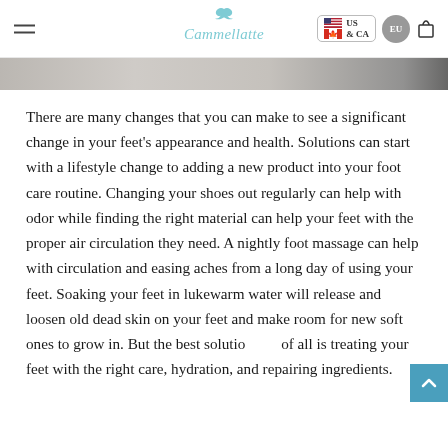Cammellatte — US & CA / EU navigation header
[Figure (photo): Partial product/lifestyle image strip at top of page]
There are many changes that you can make to see a significant change in your feet's appearance and health. Solutions can start with a lifestyle change to adding a new product into your foot care routine. Changing your shoes out regularly can help with odor while finding the right material can help your feet with the proper air circulation they need. A nightly foot massage can help with circulation and easing aches from a long day of using your feet. Soaking your feet in lukewarm water will release and loosen old dead skin on your feet and make room for new soft ones to grow in. But the best solution of all is treating your feet with the right care, hydration, and repairing ingredients.